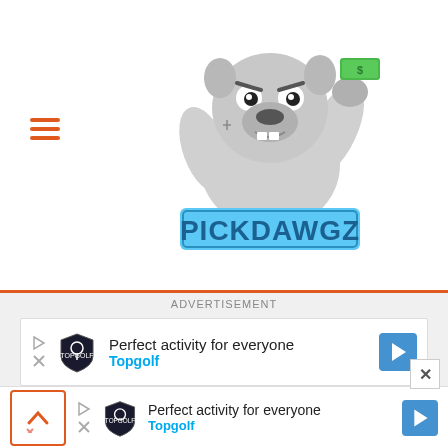[Figure (logo): PickDawgz logo: cartoon bulldog mascot holding money with text PICKDAWGZ in blue block letters]
ADVERTISEMENT
[Figure (screenshot): Advertisement banner: Topgolf - Perfect activity for everyone, with Topgolf logo and blue arrow icon]
UMBC at Vermont: 3/12/22 College Basketball Picks and
[Figure (screenshot): Bottom advertisement banner: Topgolf - Perfect activity for everyone, with Topgolf logo and blue arrow icon]